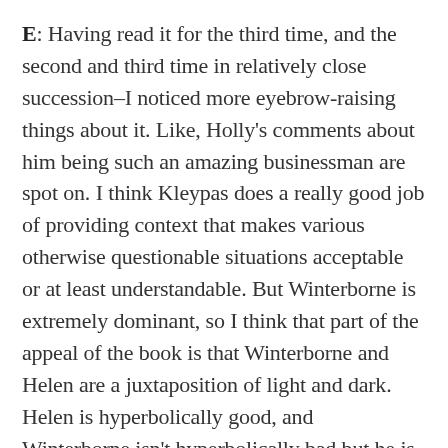E: Having read it for the third time, and the second and third time in relatively close succession–I noticed more eyebrow-raising things about it. Like, Holly's comments about him being such an amazing businessman are spot on. I think Kleypas does a really good job of providing context that makes various otherwise questionable situations acceptable or at least understandable. But Winterborne is extremely dominant, so I think that part of the appeal of the book is that Winterborne and Helen are a juxtaposition of light and dark. Helen is hyperbolically good, and Winterborne isn't hyperbolically bad but he is arrogant and demanding and selfish and comes from coarse beginnings. So a lot of the story rests on that very metaphoric relationship. There are moments when everything could be too much. Too much controlling, too much domineering. As Holly said earlier, Winterborne in real life is not going to let Helen speak for herself. But in fiction life they find a middle ground where she's a counterbalance for him, and that's what I enjoyed...